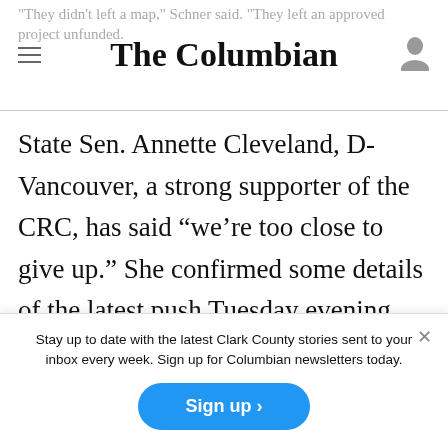The Columbian
"They didn't left a map," Schner said. "They left an approved project unfunded."
State Sen. Annette Cleveland, D-Vancouver, a strong supporter of the CRC, has said “we’re too close to give up.” She confirmed some details of the latest push Tuesday evening, and said she welcomed any effort to move forward.
Stay up to date with the latest Clark County stories sent to your inbox every week. Sign up for Columbian newsletters today.
Sign up ›
I believe there will come a time, part to explore any options that might be while Cleveland said, at some point...